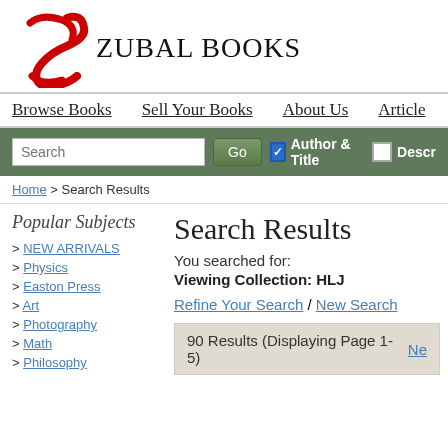[Figure (logo): Zubal Books logo with red stylized Z and serif text]
Browse Books  Sell Your Books  About Us  Article
[Figure (screenshot): Search bar with text input, Go button, Author & Title checkbox checked, Description checkbox unchecked]
Home > Search Results
Popular Subjects
> NEW ARRIVALS
> Physics
> Easton Press
> Art
> Photography
> Math
> Philosophy
Search Results
You searched for:
Viewing Collection: HLJ
Refine Your Search / New Search
90 Results (Displaying Page 1- 5)